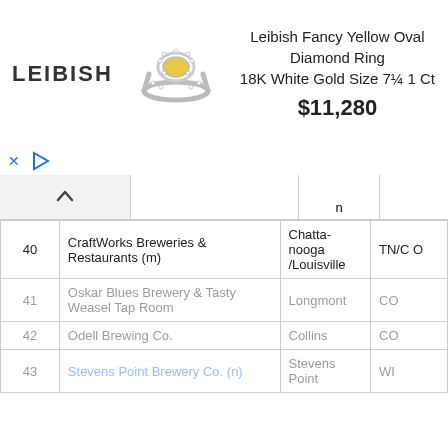[Figure (infographic): Advertisement banner for Leibish Fancy Yellow Oval Diamond Ring 18K White Gold Size 7¼ 1 Ct priced at $11,280, with LEIBISH logo and ring image]
|  | Name | Location | State |
| --- | --- | --- | --- |
| 40 | CraftWorks Breweries & Restaurants (m) | Chattanooga/Louisville | TN/CO |
| 41 | Oskar Blues Brewery & Tasty Weasel Tap Room | Longmont | CO |
| 42 | Odell Brewing Co. | Collins | CO |
| 43 | Stevens Point Brewery Co. (n) | Stevens Point | WI |
Wir nutzen Cookies auf unserer Website um die Benutzererfahrung zu optimieren. Wenn Sie diese Website weiterhin nutzen, gehen wir davon aus, dass Sie mit Cookies einverstanden sind. Ansonsten bitte diese Seite nicht nutzen. We use cookies to ensure that we give you the best experience on our website. If you continue to use this site we will assume that you are happy with it. Otherwise it is recommended you do not use this website.